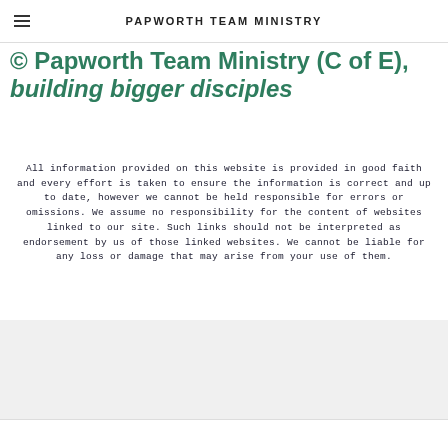PAPWORTH TEAM MINISTRY
© Papworth Team Ministry (C of E), building bigger disciples
All information provided on this website is provided in good faith and every effort is taken to ensure the information is correct and up to date, however we cannot be held responsible for errors or omissions. We assume no responsibility for the content of websites linked to our site. Such links should not be interpreted as endorsement by us of those linked websites. We cannot be liable for any loss or damage that may arise from your use of them.